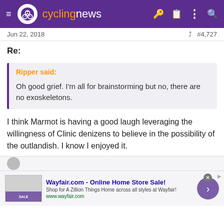[Figure (logo): Cyclingnews website header navigation bar with logo, hamburger menu, and icons]
Jun 22, 2018   #4,727
Re:
Ripper said:
Oh good grief. I'm all for brainstorming but no, there are no exoskeletons.
I think Marmot is having a good laugh leveraging the willingness of Clinic denizens to believe in the possibility of the outlandish. I know I enjoyed it.
[Figure (screenshot): Wayfair.com advertisement banner - Online Home Store Sale]